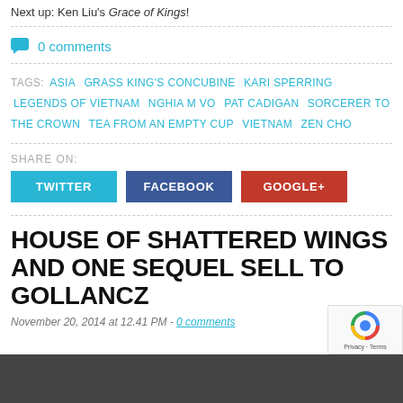Next up: Ken Liu's Grace of Kings!
0 comments
TAGS: ASIA  GRASS KING'S CONCUBINE  KARI SPERRING  LEGENDS OF VIETNAM  NGHIA M VO  PAT CADIGAN  SORCERER TO THE CROWN  TEA FROM AN EMPTY CUP  VIETNAM  ZEN CHO
SHARE ON: TWITTER  FACEBOOK  GOOGLE+
HOUSE OF SHATTERED WINGS AND ONE SEQUEL SELL TO GOLLANCZ
November 20, 2014 at 12.41 PM - 0 comments
[Figure (screenshot): Bottom image strip preview of article photo]